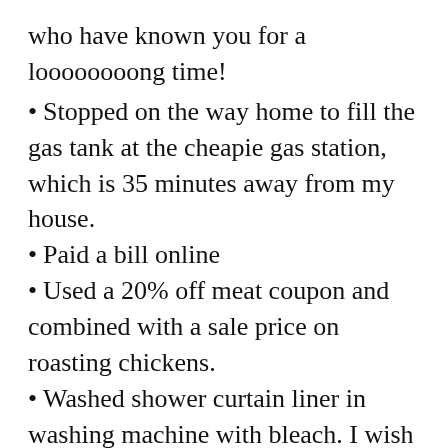who have known you for a loooooooong time!
Stopped on the way home to fill the gas tank at the cheapie gas station, which is 35 minutes away from my house.
Paid a bill online
Used a 20% off meat coupon and combined with a sale price on roasting chickens.
Washed shower curtain liner in washing machine with bleach. I wish I had written a date on the liner when I first started